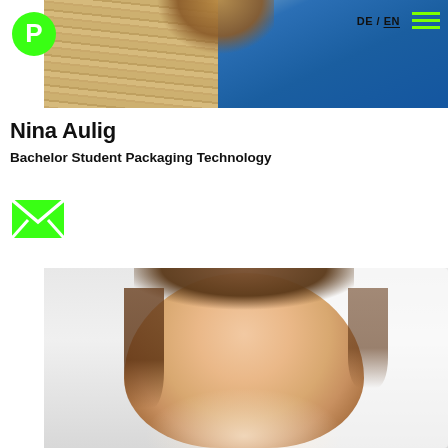[Figure (photo): Header banner photo of a person with brown/blonde hair wearing a blue sweater, with a wooden background visible on the left side]
Nina Aulig
Bachelor Student Packaging Technology
[Figure (illustration): Green email/envelope icon]
[Figure (photo): Profile photo of Nina Aulig smiling, a young woman with brown hair with bangs, against a light grey/white background]